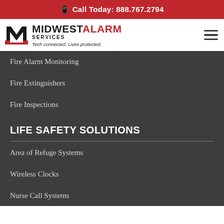Call Today: 888.767.2794
[Figure (logo): Midwest Alarm Services logo with M emblem, company name, tagline 'Tech connected. Lives protected.']
Fire Alarm Monitoring
Fire Extinguishers
Fire Inspections
LIFE SAFETY SOLUTIONS
Area of Refuge Systems
Wireless Clocks
Nurse Call Systems